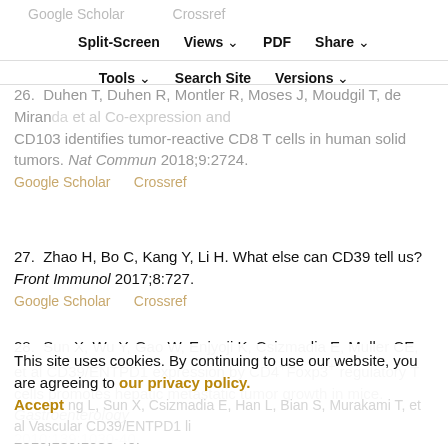Google Scholar   Crossref   Split-Screen   Views   PDF   Share   Tools   Search Site   Versions
26. Duhen T, Duhen R, Montler R, Moses J, Moudgil T, de Miranda et al. Co-expression of and CD103 identifies tumor-reactive CD8 T cells in human solid tumors. Nat Commun 2018;9:2724.
27. Zhao H, Bo C, Kang Y, Li H. What else can CD39 tell us? Front Immunol 2017;8:727.
28. Sun X, Wu Y, Gao W, Enjyoji K, Csizmadia E, Muller CE, et al CD39/ENTPD1 expression by CD4+Foxp3+ regulatory T cells promotes hepatic metastatic tumor growth in mice. Gastroenterology 2010;139:1030-40.
This site uses cookies. By continuing to use our website, you are agreeing to our privacy policy. Accept